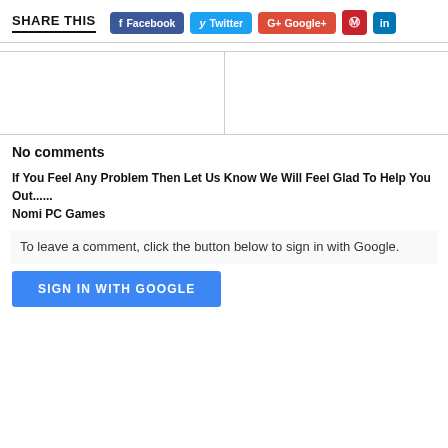SHARE THIS
[Figure (other): Social share buttons: Facebook, Twitter, Google+, Pinterest, LinkedIn]
[Figure (other): Two-column empty content area divided by a vertical line, bordered top and bottom]
No comments
If You Feel Any Problem Then Let Us Know We Will Feel Glad To Help You Out...... Nomi PC Games
To leave a comment, click the button below to sign in with Google.
[Figure (other): SIGN IN WITH GOOGLE blue button]